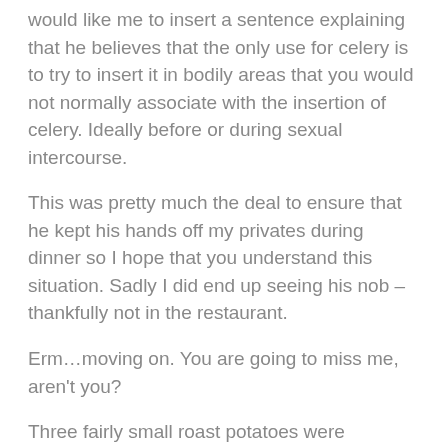would like me to insert a sentence explaining that he believes that the only use for celery is to try to insert it in bodily areas that you would not normally associate with the insertion of celery. Ideally before or during sexual intercourse.
This was pretty much the deal to ensure that he kept his hands off my privates during dinner so I hope that you understand this situation. Sadly I did end up seeing his nob – thankfully not in the restaurant.
Erm…moving on. You are going to miss me, aren't you?
Three fairly small roast potatoes were included. They were actually properly roasted but sadly they had lost their crispy edges. However what they lost in crispiness they more than made up with the exquisite taste of the goose-fat that they had been roasted in. Even if you had never had roast potatoes cooked in goose fat – you'd know these were. Superb stuff.